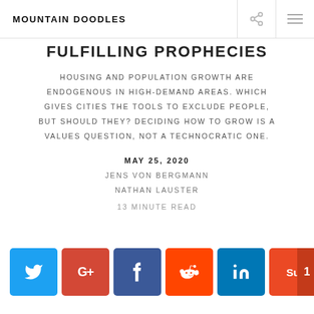MOUNTAIN DOODLES
FULFILLING PROPHECIES
HOUSING AND POPULATION GROWTH ARE ENDOGENOUS IN HIGH-DEMAND AREAS. WHICH GIVES CITIES THE TOOLS TO EXCLUDE PEOPLE, BUT SHOULD THEY? DECIDING HOW TO GROW IS A VALUES QUESTION, NOT A TECHNOCRATIC ONE.
MAY 25, 2020
JENS VON BERGMANN
NATHAN LAUSTER
13 MINUTE READ